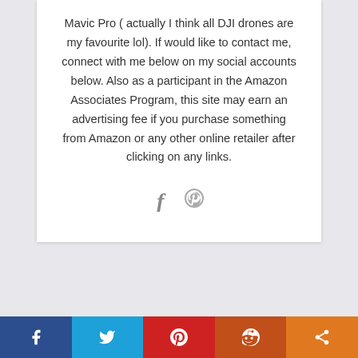Mavic Pro ( actually I think all DJI drones are my favourite lol). If would like to contact me, connect with me below on my social accounts below. Also as a participant in the Amazon Associates Program, this site may earn an advertising fee if you purchase something from Amazon or any other online retailer after clicking on any links.
[Figure (other): Social media icon links: Facebook (f) and Pinterest (p) icons in grey]
[Figure (other): Bottom share bar with five buttons: Facebook (dark blue), Twitter (light blue), Pinterest (red), Reddit (dark orange), Share (orange)]